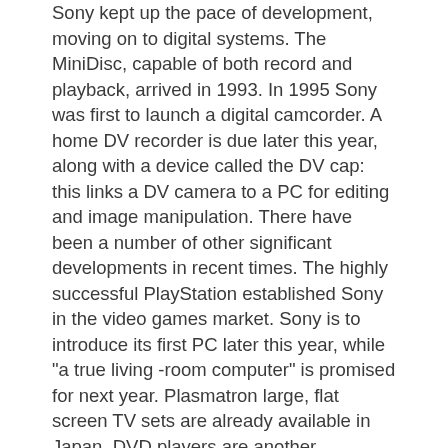Sony kept up the pace of development, moving on to digital systems. The MiniDisc, capable of both record and playback, arrived in 1993. In 1995 Sony was first to launch a digital camcorder. A home DV recorder is due later this year, along with a device called the DV cap: this links a DV camera to a PC for editing and image manipulation. There have been a number of other significant developments in recent times. The highly successful PlayStation established Sony in the video games market. Sony is to introduce its first PC later this year, while "a true living -room computer" is promised for next year. Plasmatron large, flat screen TV sets are already available in Japan. DVD players are another imminent prospect. All in all it has been an extraordinary story, and Sony's position at the centre of electronics development looks set to continue indefinitely. The company has combined world -class R&D capabilities, manufacturing excellence, the ability to read and to create markets, and remarkable marketing skills. The lifetomig CE is matter of our dreation A master l